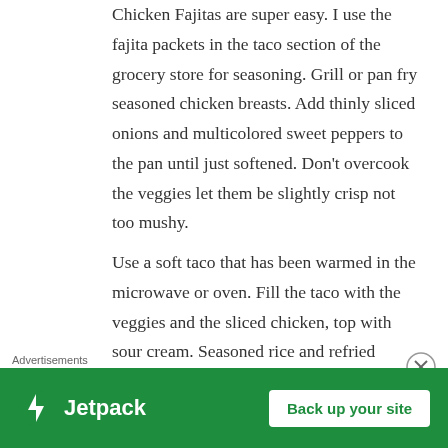Chicken Fajitas are super easy. I use the fajita packets in the taco section of the grocery store for seasoning. Grill or pan fry seasoned chicken breasts. Add thinly sliced onions and multicolored sweet peppers to the pan until just softened. Don't overcook the veggies let them be slightly crisp not too mushy.
Use a soft taco that has been warmed in the microwave or oven. Fill the taco with the veggies and the sliced chicken, top with sour cream. Seasoned rice and refried beans make a great side dish.
Chicken and Biscuits
All I do for chicken and biscuits is boil split chicken
Advertisements
[Figure (other): Jetpack advertisement banner with green background, Jetpack logo on left and 'Back up your site' button on right]